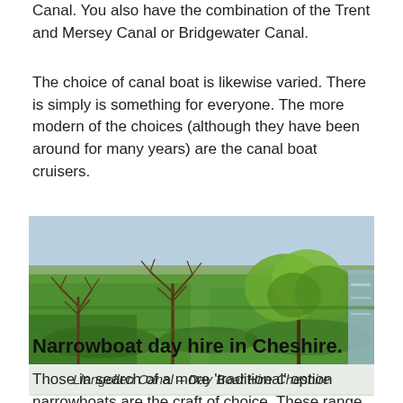Canal. You also have the combination of the Trent and Mersey Canal or Bridgewater Canal.
The choice of canal boat is likewise varied. There is simply is something for everyone. The more modern of the choices (although they have been around for many years) are the canal boat cruisers.
[Figure (photo): Aerial or elevated view of the Llangollen Canal area showing green fields, trees, and a canal waterway in Cheshire.]
Llangollen Canal – Day Boat Hire Cheshire
Narrowboat day hire in Cheshire.
Those in search of a more ‘traditional’ option narrowboats are the craft of choice. These range in size. However, typically